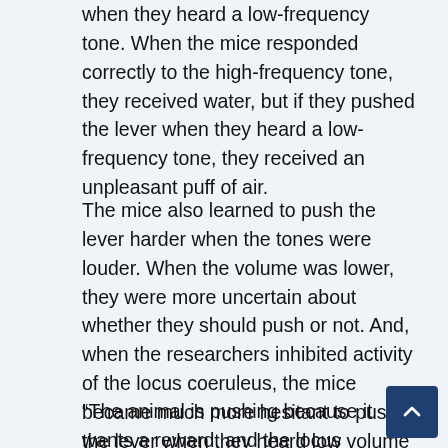when they heard a low-frequency tone. When the mice responded correctly to the high-frequency tone, they received water, but if they pushed the lever when they heard a low-frequency tone, they received an unpleasant puff of air.
The mice also learned to push the lever harder when the tones were louder. When the volume was lower, they were more uncertain about whether they should push or not. And, when the researchers inhibited activity of the locus coeruleus, the mice became much more hesitant to push the lever when they heard low volume tones, suggesting that noradrenaline promotes taking a chance on getting a reward in situations where the payoff is uncertain.
“The animal is pushing because it wants a reward, and the locus coeruleus provides critical signals to